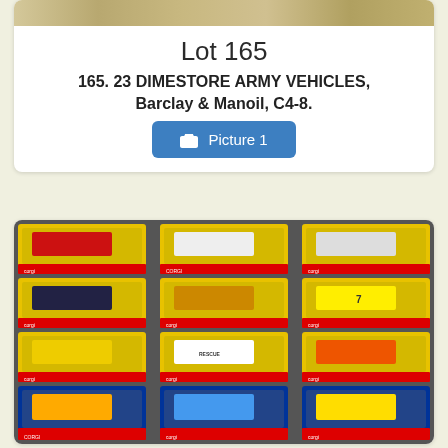[Figure (photo): Partial photo of dimestore army vehicles at top of page]
Lot 165
165. 23 DIMESTORE ARMY VEHICLES, Barclay & Manoil, C4-8.
📷 Picture 1
[Figure (photo): Grid of 12 boxed Corgi die-cast toy cars in yellow Corgi packaging, arranged in 4 rows of 3]